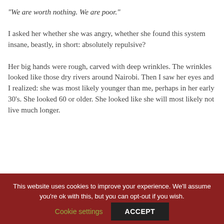“We are worth nothing. We are poor.”
I asked her whether she was angry, whether she found this system insane, beastly, in short: absolutely repulsive?
Her big hands were rough, carved with deep wrinkles. The wrinkles looked like those dry rivers around Nairobi. Then I saw her eyes and I realized: she was most likely younger than me, perhaps in her early 30’s. She looked 60 or older. She looked like she will most likely not live much longer.
This website uses cookies to improve your experience. We’ll assume you’re ok with this, but you can opt-out if you wish.
Cookie settings
ACCEPT